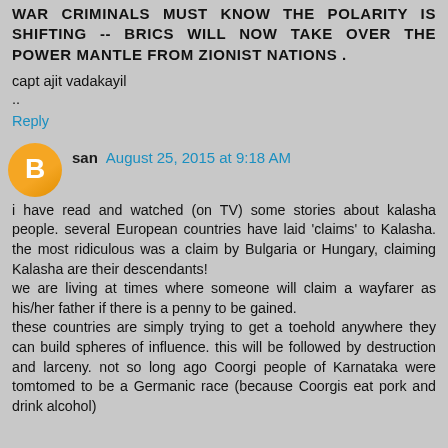WAR CRIMINALS MUST KNOW THE POLARITY IS SHIFTING -- BRICS WILL NOW TAKE OVER THE POWER MANTLE FROM ZIONIST NATIONS .
capt ajit vadakayil
..
Reply
san August 25, 2015 at 9:18 AM
i have read and watched (on TV) some stories about kalasha people. several European countries have laid 'claims' to Kalasha. the most ridiculous was a claim by Bulgaria or Hungary, claiming Kalasha are their descendants!
we are living at times where someone will claim a wayfarer as his/her father if there is a penny to be gained.
these countries are simply trying to get a toehold anywhere they can build spheres of influence. this will be followed by destruction and larceny. not so long ago Coorgi people of Karnataka were tomtomed to be a Germanic race (because Coorgis eat pork and drink alcohol)